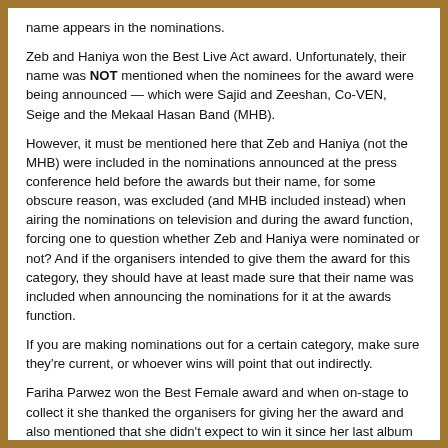name appears in the nominations.
Zeb and Haniya won the Best Live Act award. Unfortunately, their name was NOT mentioned when the nominees for the award were being announced — which were Sajid and Zeeshan, Co-VEN, Seige and the Mekaal Hasan Band (MHB).
However, it must be mentioned here that Zeb and Haniya (not the MHB) were included in the nominations announced at the press conference held before the awards but their name, for some obscure reason, was excluded (and MHB included instead) when airing the nominations on television and during the award function, forcing one to question whether Zeb and Haniya were nominated or not? And if the organisers intended to give them the award for this category, they should have at least made sure that their name was included when announcing the nominations for it at the awards function.
If you are making nominations out for a certain category, make sure they're current, or whoever wins will point that out indirectly.
Fariha Parwez won the Best Female award and when on-stage to collect it she thanked the organisers for giving her the award and also mentioned that she didn't expect to win it since her last album came out in…2005!